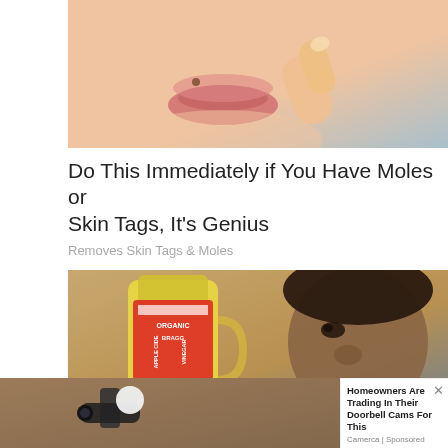[Figure (photo): Close-up photo of a person's face, showing lips and a finger near a mole on the skin]
Do This Immediately if You Have Moles or Skin Tags, It's Genius
Removes Skin Tags & Moles
[Figure (photo): Person holding a bottle of Bragg Organic Apple Cider Vinegar close to their face]
[Figure (photo): Security camera mounted on a wall outside a house]
Homeowners Are Trading In Their Doorbell Cams For This
Camerca | Sponsored